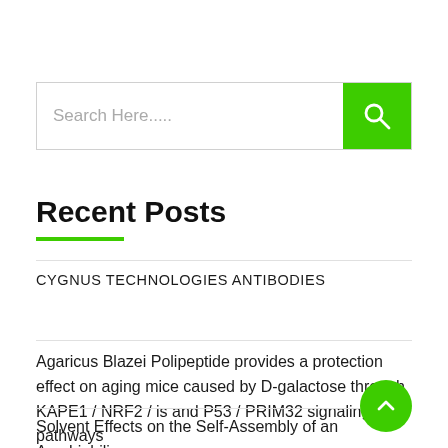[Figure (other): Search bar with text 'Search Here.....' and a green search button with magnifying glass icon]
Recent Posts
CYGNUS TECHNOLOGIES ANTIBODIES
Agaricus Blazei Polipeptide provides a protection effect on aging mice caused by D-galactose through KAPE1 / NRF2 / is and P53 / PRIM32 signaling pathways
Solvent Effects on the Self-Assembly of an Amphiphilic